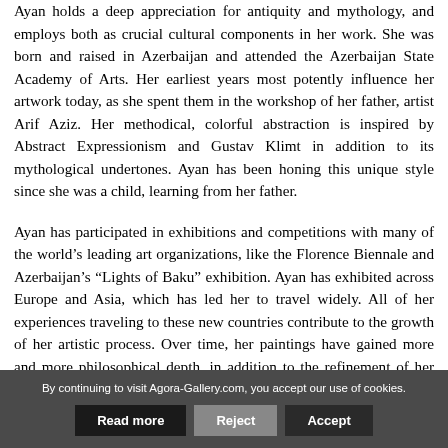Ayan holds a deep appreciation for antiquity and mythology, and employs both as crucial cultural components in her work. She was born and raised in Azerbaijan and attended the Azerbaijan State Academy of Arts. Her earliest years most potently influence her artwork today, as she spent them in the workshop of her father, artist Arif Aziz. Her methodical, colorful abstraction is inspired by Abstract Expressionism and Gustav Klimt in addition to its mythological undertones. Ayan has been honing this unique style since she was a child, learning from her father.
Ayan has participated in exhibitions and competitions with many of the world's leading art organizations, like the Florence Biennale and Azerbaijan's “Lights of Baku” exhibition. Ayan has exhibited across Europe and Asia, which has led her to travel widely. All of her experiences traveling to these new countries contribute to the growth of her artistic process. Over time, her paintings have gained more and more philosophical depth, in addition to the refinement of her technical skill, all so that her present
By continuing to visit Agora-Gallery.com, you accept our use of cookies.